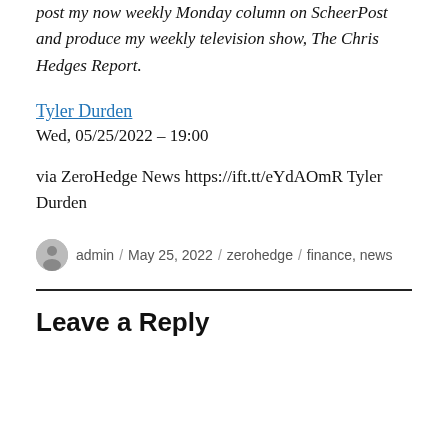post my now weekly Monday column on ScheerPost and produce my weekly television show, The Chris Hedges Report.
Tyler Durden
Wed, 05/25/2022 – 19:00
via ZeroHedge News https://ift.tt/eYdAOmR Tyler Durden
admin / May 25, 2022 / zerohedge / finance, news
Leave a Reply